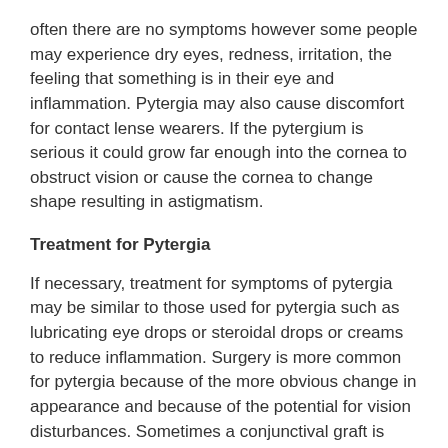often there are no symptoms however some people may experience dry eyes, redness, irritation, the feeling that something is in their eye and inflammation. Pytergia may also cause discomfort for contact lense wearers. If the pytergium is serious it could grow far enough into the cornea to obstruct vision or cause the cornea to change shape resulting in astigmatism.
Treatment for Pytergia
If necessary, treatment for symptoms of pytergia may be similar to those used for pytergia such as lubricating eye drops or steroidal drops or creams to reduce inflammation. Surgery is more common for pytergia because of the more obvious change in appearance and because of the potential for vision disturbances. Sometimes a conjunctival graft is performed to prevent recurrence which is when a small piece of tissue is grafted onto the area where the pytergia was removed.
Pytergia and pingueculae are often completely benign conditions but should be monitored by a doctor to ensure they do not get worse and pose a threat to vision. Nevertheless, these growths go